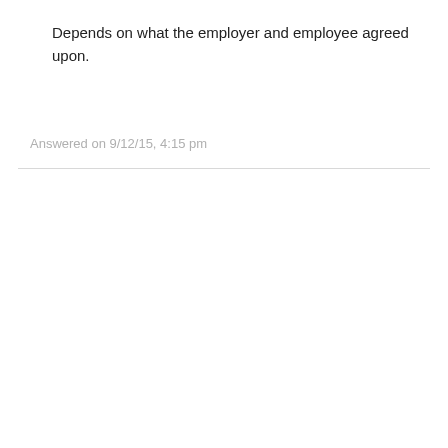Depends on what the employer and employee agreed upon.
Answered on 9/12/15, 4:15 pm